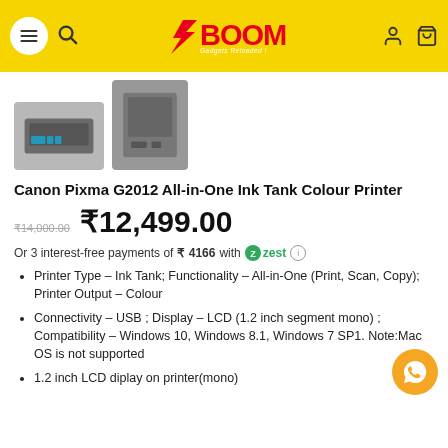XBOOM Gadgets Reloaded - navigation header
[Figure (photo): Two photos of Canon Pixma G2012 printer - front view and side/top view]
Canon Pixma G2012 All-in-One Ink Tank Colour Printer
₹14,000.00 (strikethrough old price) ₹12,499.00 (new price)
Or 3 interest-free payments of ₹ 4166 with zest
Printer Type – Ink Tank; Functionality – All-in-One (Print, Scan, Copy); Printer Output – Colour
Connectivity – USB ; Display – LCD (1.2 inch segment mono) ; Compatibility – Windows 10, Windows 8.1, Windows 7 SP1. Note:Mac OS is not supported
1.2 inch LCD diplay on printer(mono)